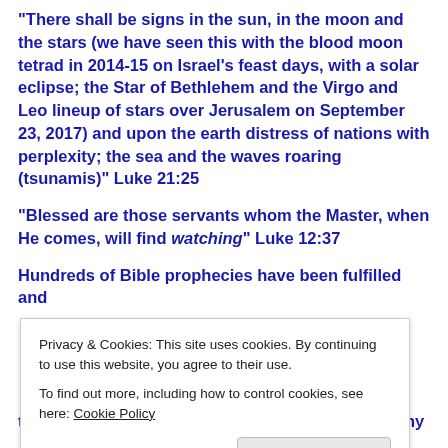“There shall be signs in the sun, in the moon and the stars (we have seen this with the blood moon tetrad in 2014-15 on Israel’s feast days, with a solar eclipse; the Star of Bethlehem and the Virgo and Leo lineup of stars over Jerusalem on September 23, 2017) and upon the earth distress of nations with perplexity; the sea and the waves roaring (tsunamis)” Luke 21:25
“Blessed are those servants whom the Master, when He comes, will find watching” Luke 12:37
Hundreds of Bible prophecies have been fulfilled and
Privacy & Cookies: This site uses cookies. By continuing to use this website, you agree to their use.
To find out more, including how to control cookies, see here: Cookie Policy
Close and accept
the How Can I Be Saved page – your eternal destiny